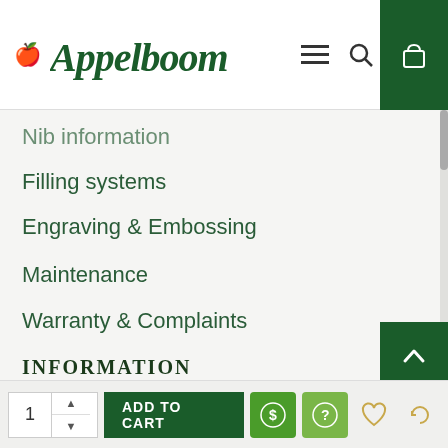[Figure (logo): Appelboom brand logo with green apple icon and serif wordmark]
Nib information
Filling systems
Engraving & Embossing
Maintenance
Warranty & Complaints
INFORMATION
About Appelboom
Delivery and return
Privacy policy